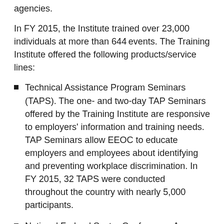agencies.
In FY 2015, the Institute trained over 23,000 individuals at more than 644 events. The Training Institute offered the following products/service lines:
Technical Assistance Program Seminars (TAPS). The one- and two-day TAP Seminars offered by the Training Institute are responsive to employers' information and training needs. TAP Seminars allow EEOC to educate employers and employees about identifying and preventing workplace discrimination. In FY 2015, 32 TAPS were conducted throughout the country with nearly 5,000 participants.
National Federal Sector Conference. An annual national federal sector conference, the Examining Conflicts in Employment Laws (EXCEL) Conference, has become a widely anticipated and highly acclaimed event for Federal EEO...